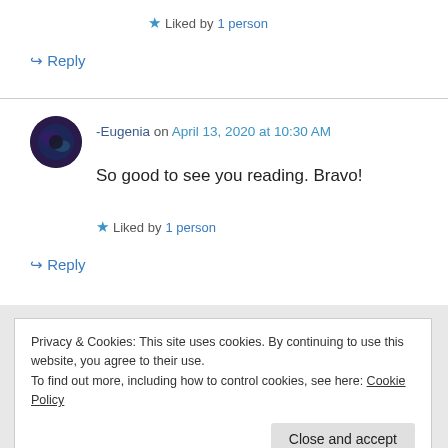★ Liked by 1 person
↪ Reply
-Eugenia on April 13, 2020 at 10:30 AM
So good to see you reading. Bravo!
★ Liked by 1 person
↪ Reply
Privacy & Cookies: This site uses cookies. By continuing to use this website, you agree to their use.
To find out more, including how to control cookies, see here: Cookie Policy
Close and accept